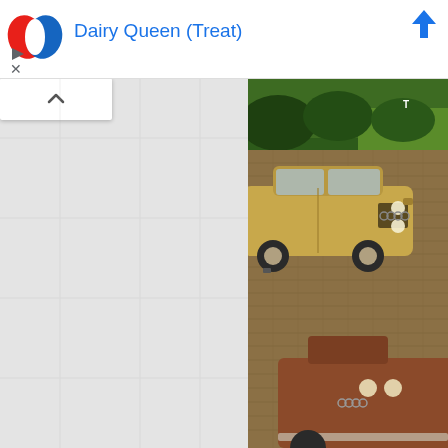[Figure (screenshot): Screenshot of a mobile app showing a Dairy Queen (Treat) location listing with a map panel on the left and a vintage Audi car advertisement photo on the right. The top bar shows the Dairy Queen logo, the name 'Dairy Queen (Treat)' in blue text, and navigation icons. The left panel is a grey map area with a collapse button (chevron up). The right panel shows a vintage photo advertisement featuring yellow and brown classic Audi sedans parked on a cobblestone surface with green hedges in the background.]